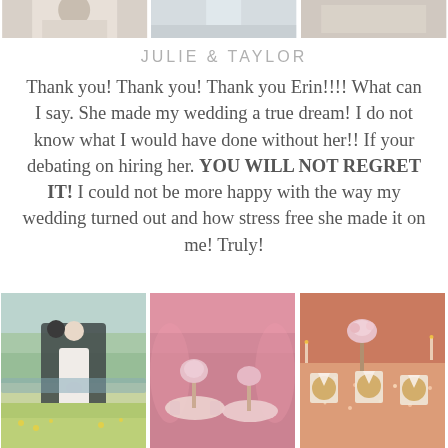[Figure (photo): Three wedding photos cropped at top of page]
JULIE & TAYLOR
Thank you! Thank you! Thank you Erin!!!! What can I say. She made my wedding a true dream! I do not know what I would have done without her!! If your debating on hiring her. YOU WILL NOT REGRET IT! I could not be more happy with the way my wedding turned out and how stress free she made it on me! Truly!
[Figure (photo): Three wedding photos at bottom: couple portrait outdoors, pink-lit reception hall, rose gold sequin table setting]